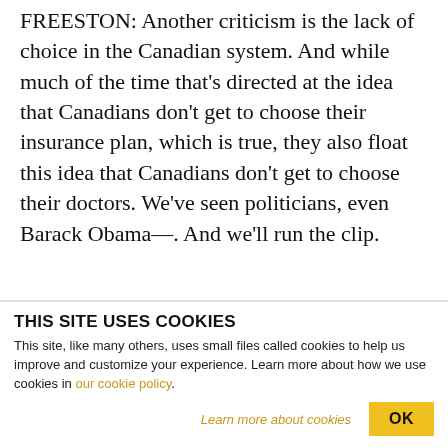FREESTON: Another criticism is the lack of choice in the Canadian system. And while much of the time that's directed at the idea that Canadians don't get to choose their insurance plan, which is true, they also float this idea that Canadians don't get to choose their doctors. We've seen politicians, even Barack Obama—. And we'll run the clip.
~~~
Courtesy: KRQE
THIS SITE USES COOKIES
This site, like many others, uses small files called cookies to help us improve and customize your experience. Learn more about how we use cookies in our cookie policy.
Learn more about cookies
OK